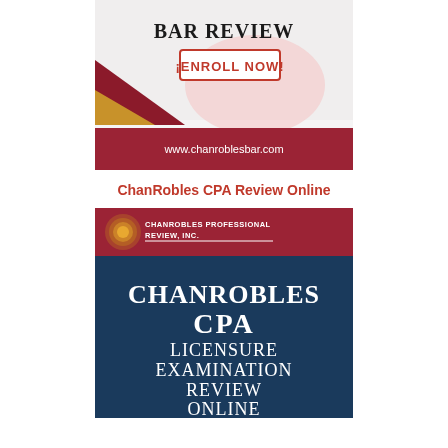[Figure (advertisement): ChanRobles Online Bar Review banner with 'ENROLL NOW!' button and www.chanroblesbar.com URL on a dark red footer bar. Features dark red and gold geometric shapes on the left.]
ChanRobles CPA Review Online
[Figure (advertisement): ChanRobles CPA Licensure Examination Review Online banner. Dark navy blue background with white serif text reading 'ChanRobles CPA Licensure Examination Review Online'. Top portion shows ChanRobles Professional Review, Inc. logo with circular gold/orange icon on dark red banner.]